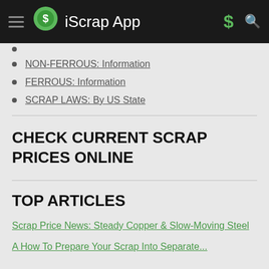iScrap App
NON-FERROUS: Information
FERROUS: Information
SCRAP LAWS: By US State
CHECK CURRENT SCRAP PRICES ONLINE
TOP ARTICLES
Scrap Price News: Steady Copper & Slow-Moving Steel
A How To Prepare Your Scrap Into Separate...